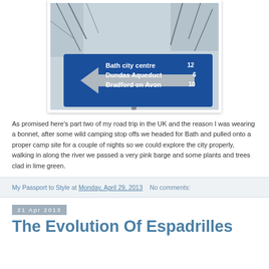[Figure (photo): Blue UK road sign pointing left showing 'Bath city centre 12, Dundas Aqueduct 6, Bradford on Avon 10', with bare winter trees in the background]
As promised here's part two of my road trip in the UK and the reason I was wearing a bonnet, after some wild camping stop offs we headed for Bath and pulled onto a proper camp site for a couple of nights so we could explore the city properly, walking in along the river we passed a very pink barge and some plants and trees clad in lime green.
My Passport to Style at Monday, April 29, 2013    No comments:
21 Apr 2013
The Evolution Of Espadrilles